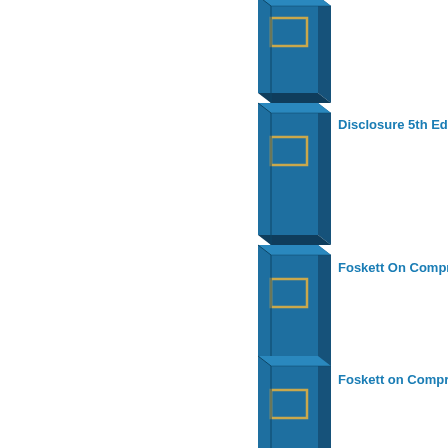[Figure (illustration): Blue book icon (3D perspective book with gold rectangle on cover) - first item, partially visible at top]
Disclosure 5th Editio...
[Figure (illustration): Blue book icon (3D perspective book with gold rectangle on cover) - second item]
Foskett On Compro...
[Figure (illustration): Blue book icon (3D perspective book with gold rectangle on cover) - third item]
Foskett on Compron...
[Figure (illustration): Blue book icon (3D perspective book with gold rectangle on cover) - fourth item]